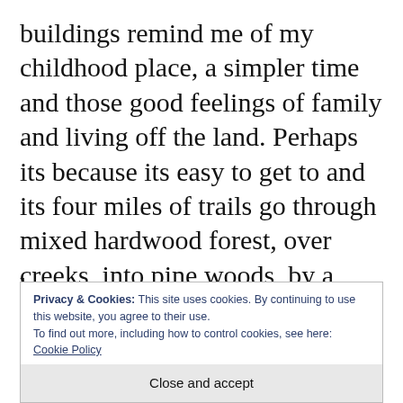buildings remind me of my childhood place, a simpler time and those good feelings of family and living off the land. Perhaps its because its easy to get to and its four miles of trails go through mixed hardwood forest, over creeks, into pine woods, by a pond, and near several vernal pools. Those diverse habitats in a small area makes it easy to see seasonal changes in a variety of
Privacy & Cookies: This site uses cookies. By continuing to use this website, you agree to their use. To find out more, including how to control cookies, see here: Cookie Policy
Close and accept